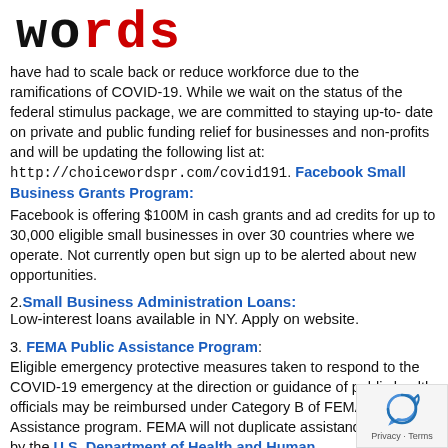[Figure (logo): Choice Words PR logo in red Courier-style font reading 'words' with 'w' and 'o' in black]
have had to scale back or reduce workforce due to the ramifications of COVID-19. While we wait on the status of the federal stimulus package, we are committed to staying up-to-date on private and public funding relief for businesses and non-profits and will be updating the following list at: http://choicewordspr.com/covid191. Facebook Small Business Grants Program:
Facebook is offering $100M in cash grants and ad credits for up to 30,000 eligible small businesses in over 30 countries where we operate. Not currently open but sign up to be alerted about new opportunities.
2. Small Business Administration Loans: Low-interest loans available in NY. Apply on website.
3. FEMA Public Assistance Program: Eligible emergency protective measures taken to respond to the COVID-19 emergency at the direction or guidance of public health officials may be reimbursed under Category B of FEMA's Public Assistance program. FEMA will not duplicate assistance provided by the U.S. Department of Health and Human Services (HHS), to include the Centers for Disease Control and Prevention (CDC), or other federal agencies.